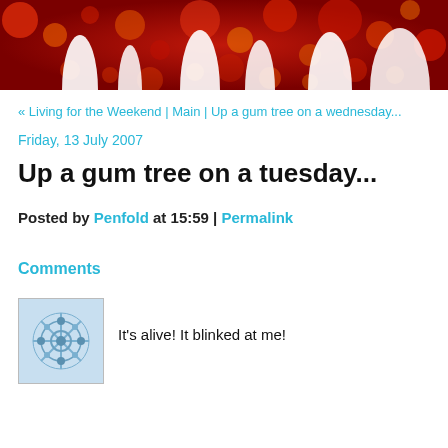[Figure (photo): Blog header banner image with red and colorful bokeh circles and white silhouettes of people on a dark red background]
« Living for the Weekend | Main | Up a gum tree on a wednesday...
Friday, 13 July 2007
Up a gum tree on a tuesday...
Posted by Penfold at 15:59 | Permalink
Comments
[Figure (photo): Avatar image showing a blue/grey snowflake or mandala pattern on a light blue background]
It's alive! It blinked at me!